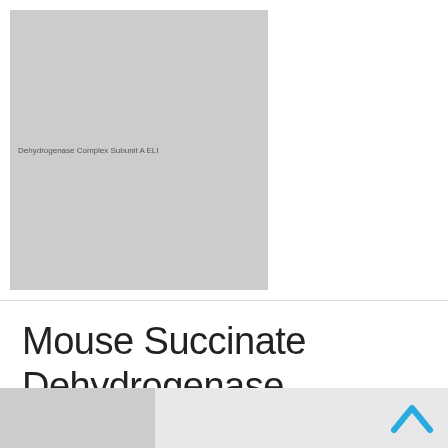[Figure (photo): Gray placeholder box for product image with small text label 'Dehydrogenase Complex Subunit A ELI']
Mouse Succinate Dehydrogenase Complex Subunit A ELISA Kit (SDHA)
| Catalog | Brand | Size | Price |
| --- | --- | --- | --- |
| RK03178 | Abclonal | 96 Tests | EUR 521 |